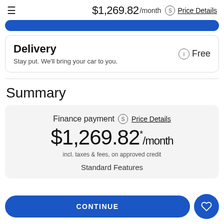$1,269.82 /month ⓢ Price Details
Delivery
Stay put. We'll bring your car to you.
Free
Summary
Finance payment ⓢ Price Details
$1,269.82 */month
incl. taxes & fees, on approved credit
Standard Features
CONTINUE